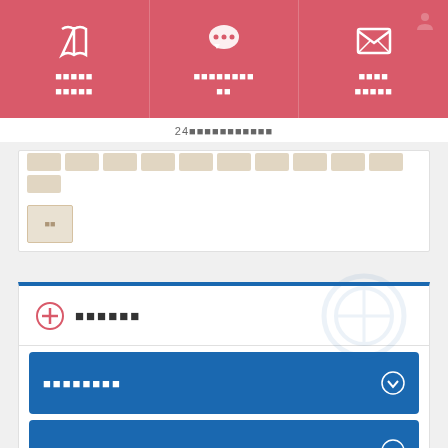[Figure (infographic): Top navigation bar with three items: book/memo icon with Japanese text, speech bubble icon with Japanese text, envelope/mail icon with Japanese text. Pink/red background.]
24　xxxxxxxxxx
[Figure (infographic): Calendar grid showing a row of beige/tan rectangular day tiles, with one selected day tile showing Japanese characters for 'today'.]
[Figure (infographic): White card section with plus icon and Japanese text label, watermark plus circle graphic, followed by two blue accordion/dropdown buttons each with Japanese text and a down-arrow icon, and a third blue strip at bottom.]